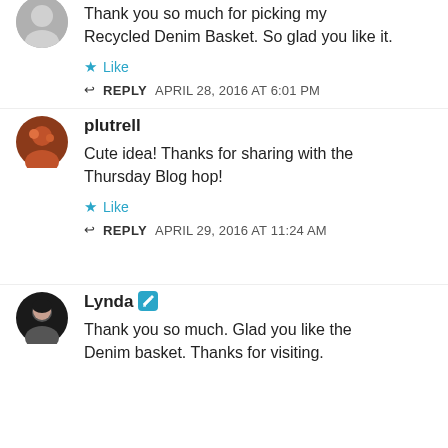[Figure (photo): Partial avatar of a user (top cropped), gray circle]
Thank you so much for picking my Recycled Denim Basket. So glad you like it.
Like
REPLY  APRIL 28, 2016 AT 6:01 PM
[Figure (photo): Avatar of user plutrell, person in red]
plutrell
Cute idea! Thanks for sharing with the Thursday Blog hop!
Like
REPLY  APRIL 29, 2016 AT 11:24 AM
[Figure (photo): Avatar of user Lynda, woman with dark hair]
Lynda
Thank you so much. Glad you like the Denim basket. Thanks for visiting.